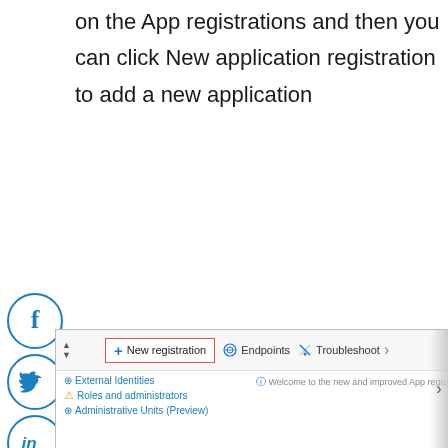on the App registrations and then you can click New application registration to add a new application
[Figure (screenshot): Screenshot showing Azure portal App registrations toolbar with 'New registration' button highlighted in red border, alongside 'Endpoints' and 'Troubleshoot' options, and links including 'External Identities', 'Roles and administrators', 'Administrative Units (Preview)' with a banner about new App registrations experience.]